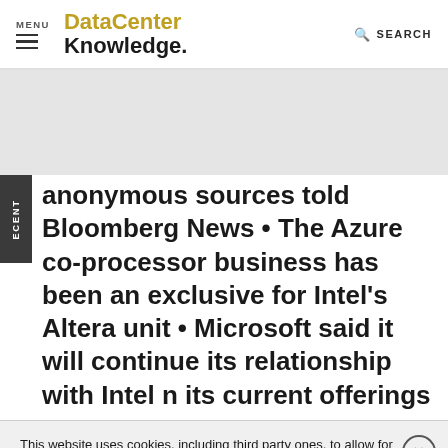MENU | DataCenter Knowledge. | SEARCH
anonymous sources told Bloomberg News • The Azure co-processor business has been an exclusive for Intel's Altera unit • Microsoft said it will continue its relationship with Intel in its current offerings
This website uses cookies, including third party ones, to allow for analysis of how people use our website in order to improve your experience and our services. By continuing to use our website, you agree to the use of such cookies. Click here for more information on our Cookie Policy and Privacy Policy.